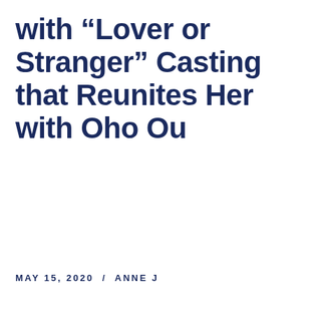with “Lover or Stranger” Casting that Reunites Her with Oho Ou
MAY 15, 2020 / ANNE J